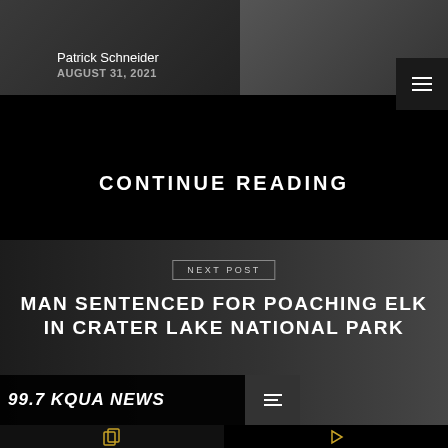[Figure (photo): Dark news website header with two dark photo panels side by side]
Patrick Schneider
AUGUST 31, 2021
CONTINUE READING
NEXT POST
MAN SENTENCED FOR POACHING ELK IN CRATER LAKE NATIONAL PARK
99.7 KQUA NEWS